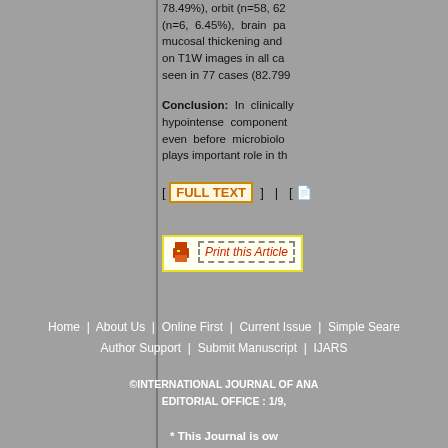78.49%), orbit (n=58, 62... (n=6, 6.45%), brain pa... mucosal thickening and ... on T1W images in all ca... seen in 77 cases (82.799...
Conclusion: In clinically... hypointense components... even before microbiolo... plays important role in th...
[ FULL TEXT ] | [
Print this Article
Home | About Us | Online First | Current Issue | Simple Seare... Author Support | Submit Manuscript | IJARS...
©INTERNATIONAL JOURNAL OF ANA... EDITORIAL OFFICE : 1/9,
* This Journal is ow...